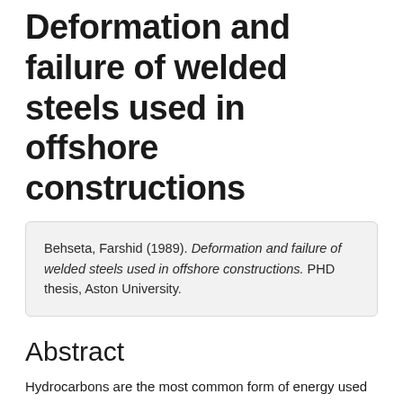Deformation and failure of welded steels used in offshore constructions
Behseta, Farshid (1989). Deformation and failure of welded steels used in offshore constructions. PHD thesis, Aston University.
Abstract
Hydrocarbons are the most common form of energy used to date. The activities involving exploration and exploitation of large oil and gas fields are constantly in operation and have extended to such hostile environments as the North Sea. This enforces much greater demands on the materials which are used, and the need for enhancing the endurance of the existing